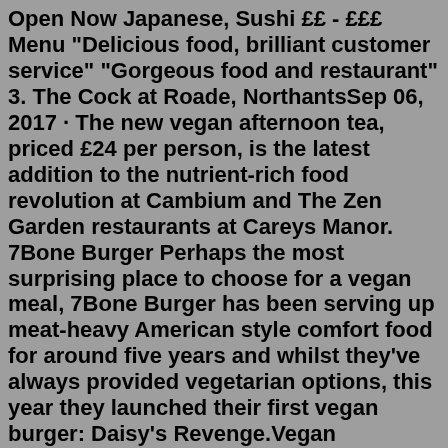Open Now Japanese, Sushi ££ - £££ Menu "Delicious food, brilliant customer service" "Gorgeous food and restaurant" 3. The Cock at Roade, NorthantsSep 06, 2017 · The new vegan afternoon tea, priced £24 per person, is the latest addition to the nutrient-rich food revolution at Cambium and The Zen Garden restaurants at Careys Manor. 7Bone Burger Perhaps the most surprising place to choose for a vegan meal, 7Bone Burger has been serving up meat-heavy American style comfort food for around five years and whilst they've always provided vegetarian options, this year they launched their first vegan burger: Daisy's Revenge.Vegan Afternoon Tea From: ... Gluten Free Vegetarian Afternoon Tea From: ... Indulge in one of our afternoon teas, offering tasty savouries alongside scones served with Tiptree strawberry jam, clotted cream and a range of delicious miniature desserts. Calorie information can be found at the bottom of this page. Available EVERYDAY between 12pm & 4.30pm, w e have three Afternoon Teas for you to choose from: 7Bone Burger